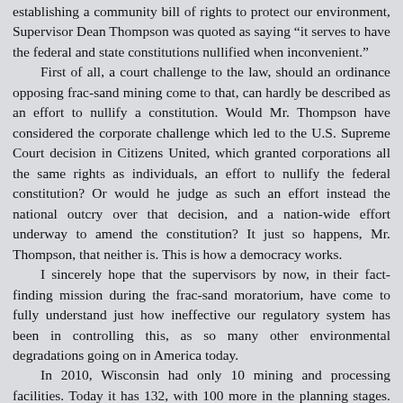establishing a community bill of rights to protect our environment, Supervisor Dean Thompson was quoted as saying "it serves to have the federal and state constitutions nullified when inconvenient."

First of all, a court challenge to the law, should an ordinance opposing frac-sand mining come to that, can hardly be described as an effort to nullify a constitution. Would Mr. Thompson have considered the corporate challenge which led to the U.S. Supreme Court decision in Citizens United, which granted corporations all the same rights as individuals, an effort to nullify the federal constitution? Or would he judge as such an effort instead the national outcry over that decision, and a nation-wide effort underway to amend the constitution? It just so happens, Mr. Thompson, that neither is. This is how a democracy works.

I sincerely hope that the supervisors by now, in their fact-finding mission during the frac-sand moratorium, have come to fully understand just how ineffective our regulatory system has been in controlling this, as so many other environmental degradations going on in America today.

In 2010, Wisconsin had only 10 mining and processing facilities. Today it has 132, with 100 more in the planning stages. Since 2012, Wisconsin has found two dozen of these operations in violation of air and water pollution rules, yet anyone living with the 24-hour-a-day traffic, light, air and noise pollution rampant in their neighborhoods has testified that little has changed. Indeed, given the nature of frac-sand mining and processing, little can change.